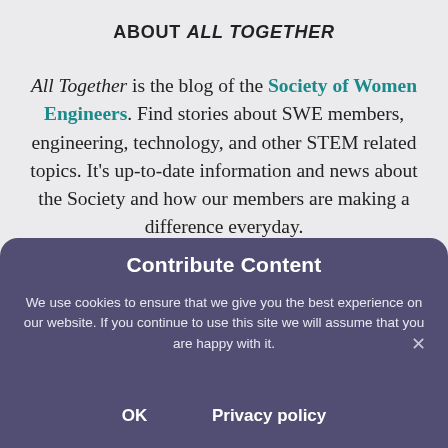ABOUT ALL TOGETHER
All Together is the blog of the Society of Women Engineers. Find stories about SWE members, engineering, technology, and other STEM related topics. It's up-to-date information and news about the Society and how our members are making a difference everyday.
Contribute Content
We use cookies to ensure that we give you the best experience on our website. If you continue to use this site we will assume that you are happy with it.
OK    Privacy policy